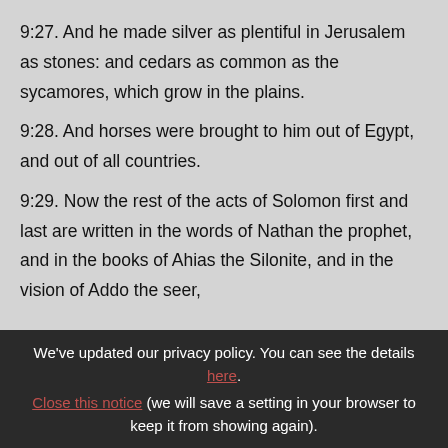9:27. And he made silver as plentiful in Jerusalem as stones: and cedars as common as the sycamores, which grow in the plains.
9:28. And horses were brought to him out of Egypt, and out of all countries.
9:29. Now the rest of the acts of Solomon first and last are written in the words of Nathan the prophet, and in the books of Ahias the Silonite, and in the vision of Addo the seer,
We've updated our privacy policy. You can see the details here. Close this notice (we will save a setting in your browser to keep it from showing again).